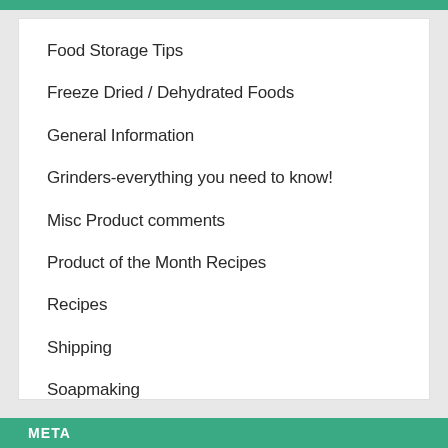Food Storage Tips
Freeze Dried / Dehydrated Foods
General Information
Grinders-everything you need to know!
Misc Product comments
Product of the Month Recipes
Recipes
Shipping
Soapmaking
Uncategorized
META